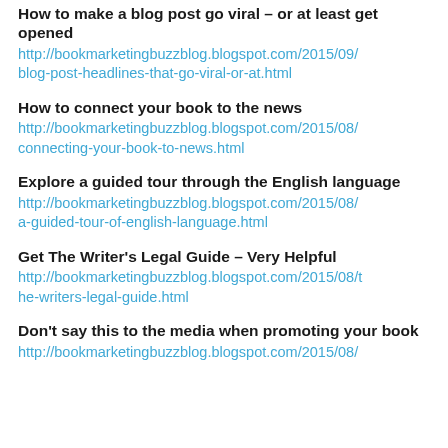How to make a blog post go viral – or at least get opened
http://bookmarketingbuzzblog.blogspot.com/2015/09/blog-post-headlines-that-go-viral-or-at.html
How to connect your book to the news
http://bookmarketingbuzzblog.blogspot.com/2015/08/connecting-your-book-to-news.html
Explore a guided tour through the English language
http://bookmarketingbuzzblog.blogspot.com/2015/08/a-guided-tour-of-english-language.html
Get The Writer's Legal Guide – Very Helpful
http://bookmarketingbuzzblog.blogspot.com/2015/08/the-writers-legal-guide.html
Don't say this to the media when promoting your book
http://bookmarketingbuzzblog.blogspot.com/2015/08/